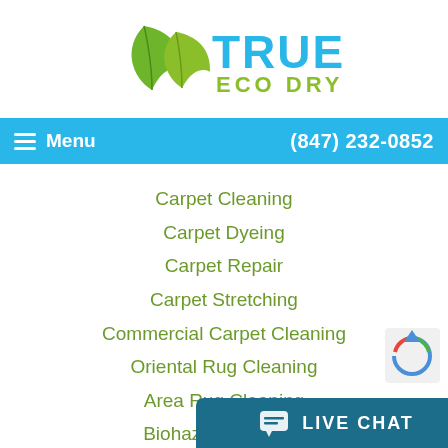[Figure (logo): True Eco Dry logo with green leaf icons and blue/green text]
Menu  (847) 232-0852
Carpet Cleaning
Carpet Dyeing
Carpet Repair
Carpet Stretching
Commercial Carpet Cleaning
Oriental Rug Cleaning
Area Rug Cleaning
Biohazard Cleanup
Decontam...
Tile & C...